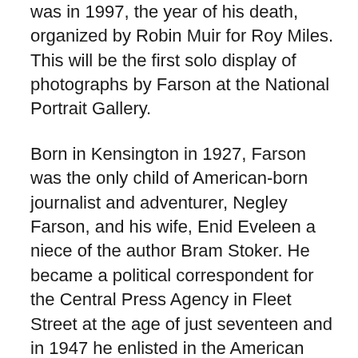was in 1997, the year of his death, organized by Robin Muir for Roy Miles. This will be the first solo display of photographs by Farson at the National Portrait Gallery.
Born in Kensington in 1927, Farson was the only child of American-born journalist and adventurer, Negley Farson, and his wife, Enid Eveleen a niece of the author Bram Stoker. He became a political correspondent for the Central Press Agency in Fleet Street at the age of just seventeen and in 1947 he enlisted in the American Army Air Corps gaining experience on the army's Stars and Stripes magazine supplement. Whilst attending Cambridge University in 1949, Farson established the magazine Panorama which in turn helped him secure a job as a staff photographer for Picture Post in 1951. In the early 1950s he began his affiliation with Soho, where he found acceptance of his homosexuality and later struggled